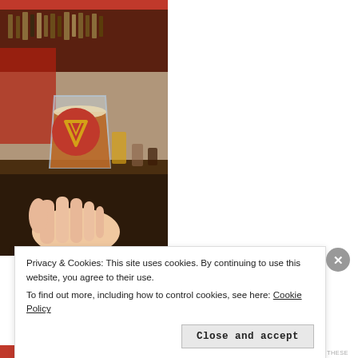[Figure (photo): A hand holding a small glass of amber/dark beer with a red circular coaster/badge featuring a V logo, in a bar setting with shelves of bottles in the background]
Privacy & Cookies: This site uses cookies. By continuing to use this website, you agree to their use.
To find out more, including how to control cookies, see here: Cookie Policy
Close and accept